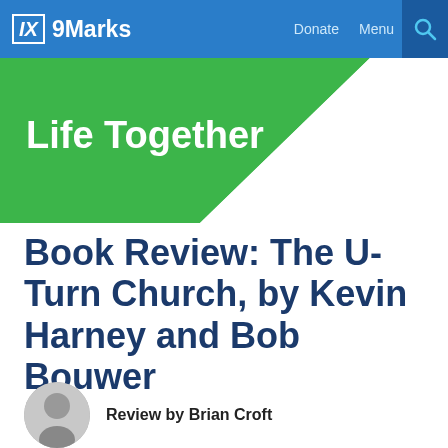IX 9Marks  Donate  Menu
[Figure (illustration): 9Marks website header with blue navigation bar showing IX 9Marks logo, Donate and Menu links, and a search icon. Below is a green diagonal banner with white text 'Life Together'.]
Book Review: The U-Turn Church, by Kevin Harney and Bob Bouwer
Review by Brian Croft